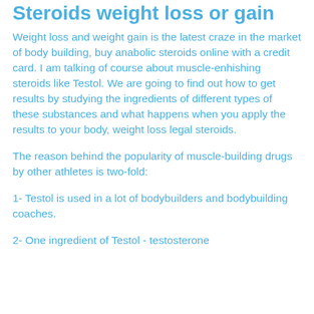Steroids weight loss or gain
Weight loss and weight gain is the latest craze in the market of body building, buy anabolic steroids online with a credit card. I am talking of course about muscle-enhishing steroids like Testol. We are going to find out how to get results by studying the ingredients of different types of these substances and what happens when you apply the results to your body, weight loss legal steroids.
The reason behind the popularity of muscle-building drugs by other athletes is two-fold:
1- Testol is used in a lot of bodybuilders and bodybuilding coaches.
2- One ingredient of Testol - testosterone